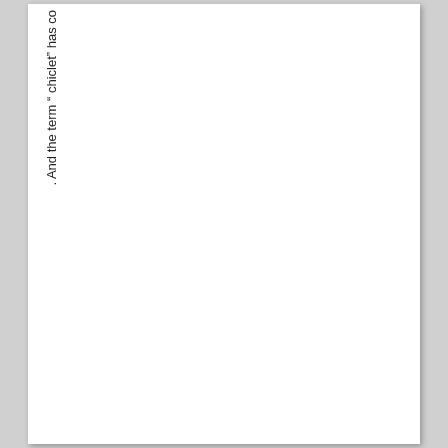. And the term " chiclet" has co